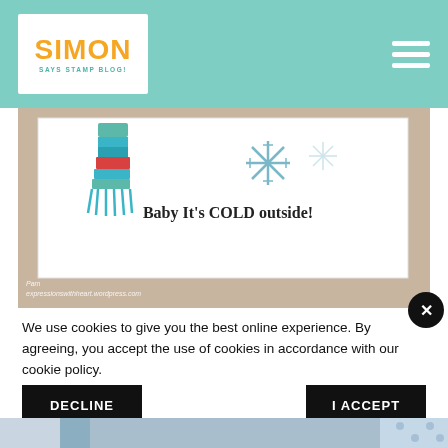Simon Says Stamp Blog
[Figure (photo): A handmade greeting card featuring a colorful striped scarf and snowflake illustration with text 'Baby It's COLD outside!' on a white card background with brown paper backdrop]
We use cookies to give you the best online experience. By agreeing, you accept the use of cookies in accordance with our cookie policy.
DECLINE
I ACCEPT
Privacy Policy  Cookie Policy
[Figure (photo): Partial view of another crafting/card image at the bottom of the page, showing blue and dotted fabric patterns]